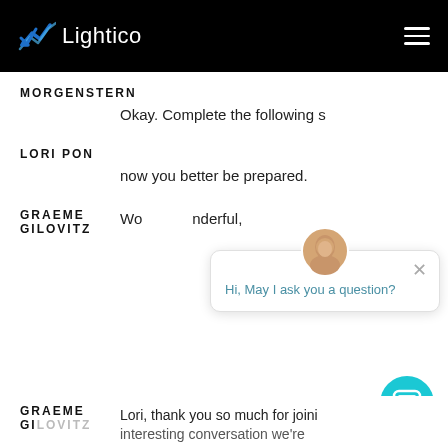Lightico
MORGENSTERN
Okay. Complete the following s
LORI PON
now you better be prepared.
GRAEME GILOVITZ
Hi, May I ask you a question?
Wonderful,
GRAEME GILOVITZ
Lori, thank you so much for joini
interesting conversation we're